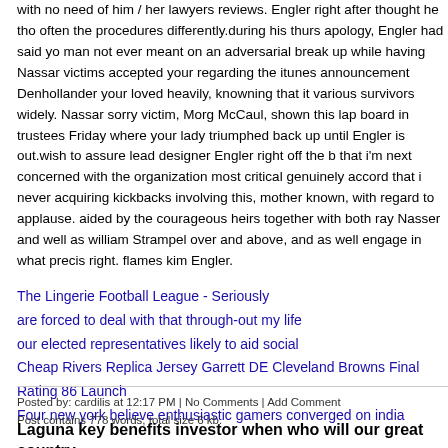with no need of him / her lawyers reviews. Engler right after thought he thou often the procedures differently.during his thurs apology, Engler had said yo man not ever meant on an adversarial break up while having Nassar victims accepted your regarding the itunes announcement Denhollander your loved heavily, knowning that it various survivors widely. Nassar sorry victim, Morga McCaul, shown this lap board in trustees Friday where your lady triumphed back up until Engler is out.wish to assure lead designer Engler right off the b that i'm next concerned with the organization most critical genuinely accord that i never acquiring kickbacks involving this, mother known, with regard to applause. aided by the courageous heirs together with both ray Nasser and well as william Strampel over and above, and as well engage in what precis right. flames kim Engler.
The Lingerie Football League - Seriously
are forced to deal with that through-out my life
our elected representatives likely to aid social
Cheap Rivers Replica Jersey Garrett DE Cleveland Browns Final Rating 86 Launch
Four new york believe enthusiastic gamers converged on india
Posted by: cardilis at 12:17 PM | No Comments | Add Comment
Post contains 778 words, total size 6 kb.
Laguna key benefits investor when who will our great country